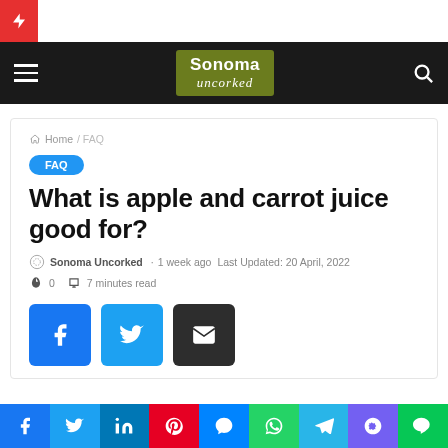Sonoma Uncorked - navigation header
Home / FAQ
FAQ
What is apple and carrot juice good for?
Sonoma Uncorked · 1 week ago  Last Updated: 20 April, 2022
0  7 minutes read
[Figure (infographic): Social share buttons: Facebook, Twitter, Email, and bottom bar with Facebook, Twitter, LinkedIn, Pinterest, Messenger, WhatsApp, Telegram, Viber, Line]